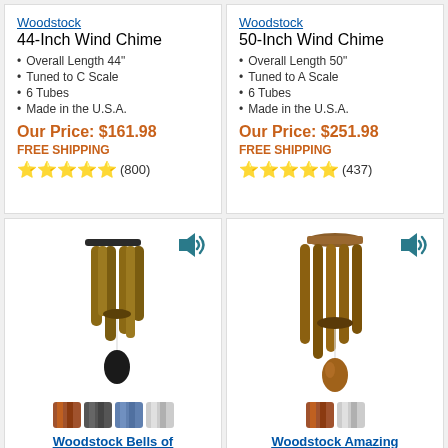Woodstock [brand link] 44-Inch Wind Chime
Overall Length 44"
Tuned to C Scale
6 Tubes
Made in the U.S.A.
Our Price: $161.98
FREE SHIPPING
★★★★★ (800)
Woodstock [brand link] 50-Inch Wind Chime
Overall Length 50"
Tuned to A Scale
6 Tubes
Made in the U.S.A.
Our Price: $251.98
FREE SHIPPING
★★★★★ (437)
[Figure (photo): Wind chime product photo with color swatches below - Woodstock Bells of Paradise style with dark finish]
Woodstock Bells of
[Figure (photo): Wind chime product photo with color swatches below - Woodstock Amazing Grace style with bronze finish]
Woodstock Amazing